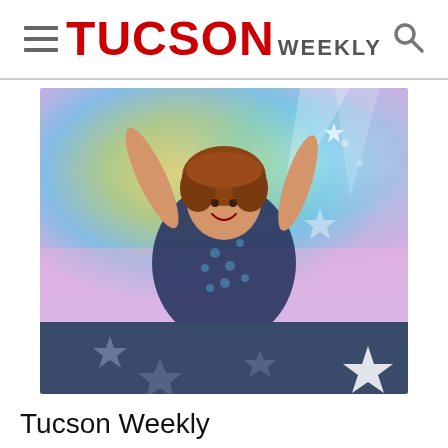TUCSON WEEKLY
[Figure (photo): A smiling woman with curly auburn hair wearing a sequined/patterned dark blue jacket, arms raised with hands open, posed against a colorful rainbow gradient background with stars. The bottom of the image has a dark navy blue band with star shapes.]
Tucson Weekly